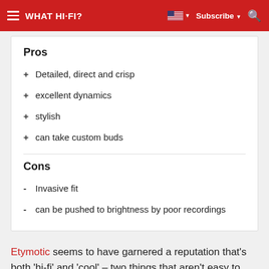WHAT HI-FI? | Subscribe
Pros
+ Detailed, direct and crisp
+ excellent dynamics
+ stylish
+ can take custom buds
Cons
- Invasive fit
- can be pushed to brightness by poor recordings
Etymotic seems to have garnered a reputation that’s both ‘hi-fi’ and ‘cool’ – two things that aren’t easy to